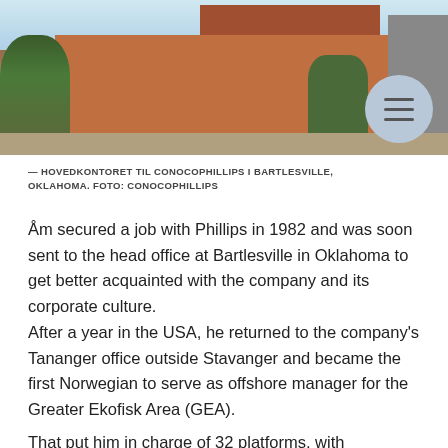[Figure (photo): Exterior photo of the ConocoPhillips headquarters building in Bartlesville, Oklahoma. Red brick building with trees and a street in front. A circular menu button overlay is visible in the top-right corner.]
— HOVEDKONTORET TIL CONOCOPHILLIPS I BARTLESVILLE, OKLAHOMA. FOTO: CONOCOPHILLIPS
Åm secured a job with Phillips in 1982 and was soon sent to the head office at Bartlesville in Oklahoma to get better acquainted with the company and its corporate culture.
After a year in the USA, he returned to the company's Tananger office outside Stavanger and became the first Norwegian to serve as offshore manager for the Greater Ekofisk Area (GEA).
That put him in charge of 32 platforms, with responsibility for